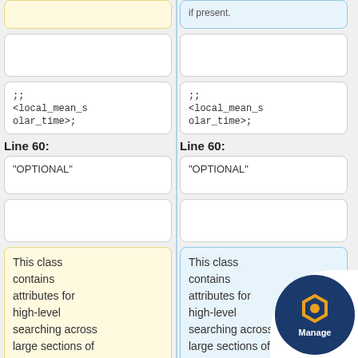;;
&lt;local_mean_solar_time&gt;
;;
&lt;local_mean_solar_time&gt;
Line 60:
Line 60:
"OPTIONAL"
"OPTIONAL"
This class contains attributes for high-level searching across large sections of the PDS archive.  While it's optional in any given label, you should use it
This class contains attributes for high-level searching across large sections of the PDS archive. is opti gene rec